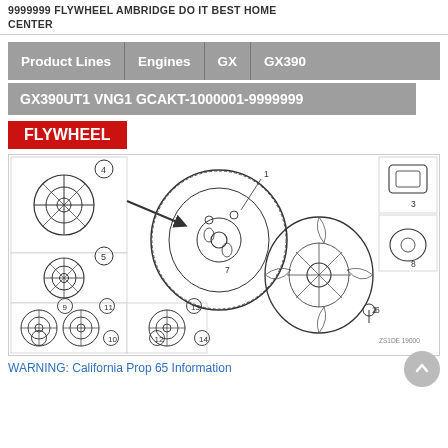9999999 FLYWHEEL AMBRIDGE DO IT BEST HOME CENTER
Product Lines | Engines | GX | GX390
GX390UT1 VNG1 GCAKT-1000001-9999999
FLYWHEEL
[Figure (engineering-diagram): Exploded parts diagram of a flywheel assembly for Honda GX390 engine, showing numbered components including flywheel body, cooling fan rotor, key, and related parts labeled 1-14.]
WARNING: California Prop 65 Information